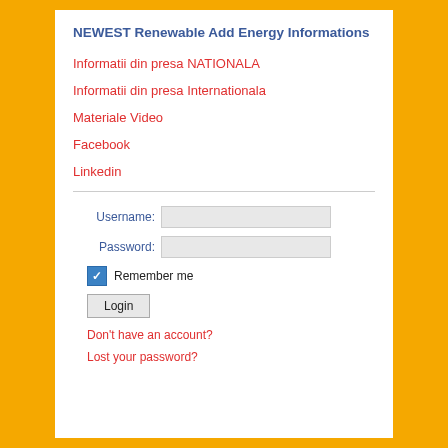NEWEST Renewable Add Energy Informations
Informatii din presa NATIONALA
Informatii din presa Internationala
Materiale Video
Facebook
Linkedin
Username: [input field]
Password: [input field]
Remember me [checkbox checked]
Login [button]
Don't have an account?
Lost your password?